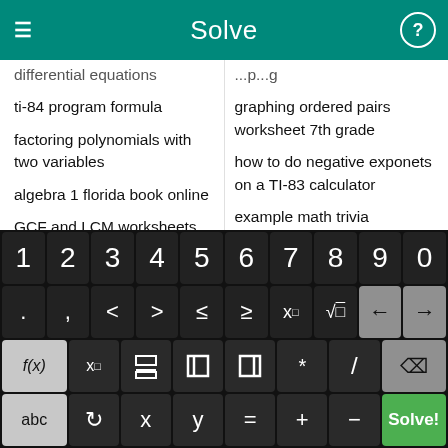Solve
differential equations
graphing ordered pairs worksheet 7th grade
ti-84 program formula
how to do negative exponets on a TI-83 calculator
factoring polynomials with two variables
example math trivia
algebra 1 florida book online
how to find the y and x intercepts of a graph in ti-83 plus
GCF and LCM worksheets
PPT of fluid mechanics
How to add and subtract integers
[Figure (screenshot): On-screen math keyboard with rows: digits 1-0, symbols (. , < > ≤ ≥ x□ √□ ← →), function keys (f(x) x□ fraction absolute-value parentheses * / backspace), and bottom row (abc ↺ x y = + - Solve!)]